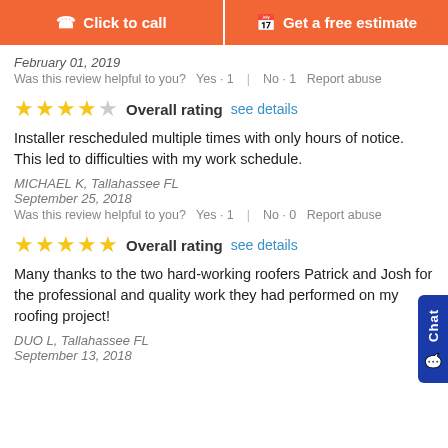Click to call | Get a free estimate
February 01, 2019
Was this review helpful to you?   Yes · 1   |   No · 1   Report abuse
[Figure (other): 4 out of 5 stars rating with 'Overall rating' label and 'see details' link]
Installer rescheduled multiple times with only hours of notice. This led to difficulties with my work schedule.
MICHAEL K, Tallahassee FL
September 25, 2018
Was this review helpful to you?   Yes · 1   |   No · 0   Report abuse
[Figure (other): 5 out of 5 stars rating with 'Overall rating' label and 'see details' link]
Many thanks to the two hard-working roofers Patrick and Josh for the professional and quality work they had performed on my roofing project!
DUO L, Tallahassee FL
September 13, 2018